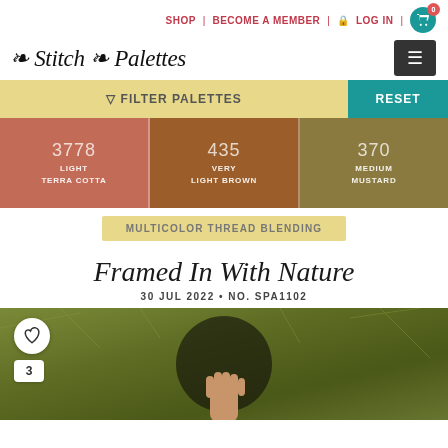SHOP | BECOME A MEMBER | LOG IN | 0
Stitch Palettes
FILTER PALETTES
RESET
| Code | Name |
| --- | --- |
| 3778 | LIGHT TERRA COTTA |
| 435 | VERY LIGHT BROWN |
| 370 | MEDIUM MUSTARD |
MULTICOLOR THREAD BLENDING
Framed In With Nature
30 JUL 2022 • NO. SPA1102
[Figure (photo): Nature field photo with circular frame overlay, heart button, and count of 3]